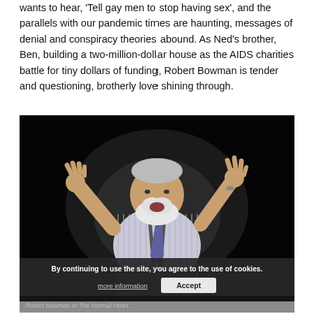wants to hear, 'Tell gay men to stop having sex', and the parallels with our pandemic times are haunting, messages of denial and conspiracy theories abound. As Ned's brother, Ben, building a two-million-dollar house as the AIDS charities battle for tiny dollars of funding, Robert Bowman is tender and questioning, brotherly love shining through.
[Figure (photo): A heavyset older man with a white beard, wearing a striped dress shirt with suspenders and a tie, arms raised expressively on a dark stage. Cookie consent banner overlaid at the bottom reading 'By continuing to use the site, you agree to the use of cookies.' with 'more information' and 'Accept' buttons.]
Robert Bowman in The Normal Heart